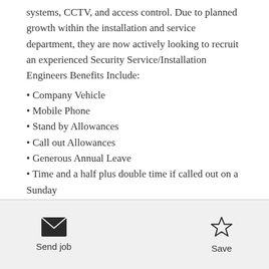systems, CCTV, and access control. Due to planned growth within the installation and service department, they are now actively looking to recruit an experienced Security Service/Installation Engineers Benefits Include:
• Company Vehicle
• Mobile Phone
• Stand by Allowances
• Call out Allowances
• Generous Annual Leave
• Time and a half plus double time if called out on a Sunday
If you are looking for a new challenge and want to work
Send job  Save